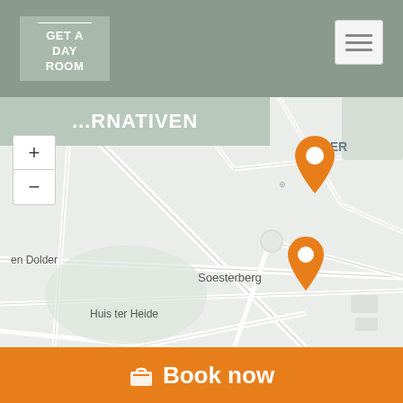GET A DAY ROOM
...RNATIVEN
[Figure (map): Street map showing the Soesterberg and Huis ter Heide area in the Netherlands near Amersfoort (AMER label visible), with two orange location pin markers. Map includes road network, park/green areas, and place labels including 'en Dolder', 'Soesterberg', and 'Huis ter Heide'.]
Book now